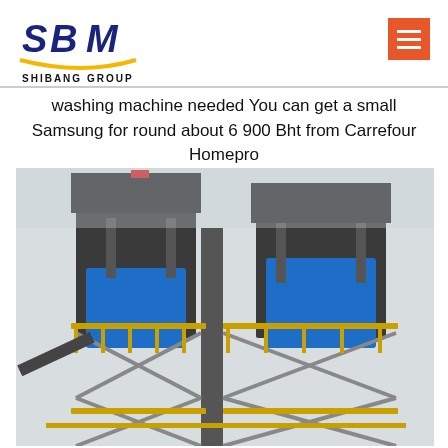[Figure (logo): SBM Shibang Group logo with blue stylized text and gold arc underline]
washing machine needed You can get a small Samsung for round about 6 900 Bht from Carrefour Homepro
[Figure (photo): Large industrial plant structure with blue metal silos/hoppers, steel framework, and yellow safety railings against a grey sky]